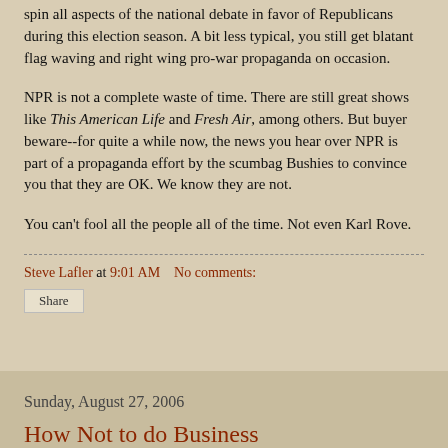spin all aspects of the national debate in favor of Republicans during this election season. A bit less typical, you still get blatant flag waving and right wing pro-war propaganda on occasion.
NPR is not a complete waste of time. There are still great shows like This American Life and Fresh Air, among others. But buyer beware--for quite a while now, the news you hear over NPR is part of a propaganda effort by the scumbag Bushies to convince you that they are OK. We know they are not.
You can't fool all the people all of the time. Not even Karl Rove.
Steve Lafler at 9:01 AM   No comments:
Share
Sunday, August 27, 2006
How Not to do Business